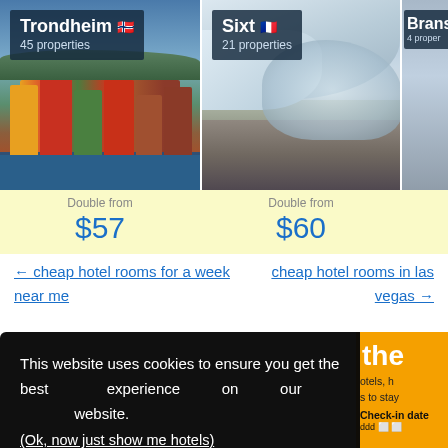[Figure (photo): Trondheim city photo showing colorful houses reflected in water, with label '45 properties']
[Figure (photo): Sixt snowy mountain ski resort photo, with label '21 properties']
[Figure (photo): Branson partial photo with '4 properties' label (partially cropped)]
Double from $57
Double from $60
← cheap hotel rooms for a week near me
cheap hotel rooms in las vegas →
This website uses cookies to ensure you get the best experience on our website.
(Ok, now just show me hotels)
Proceed